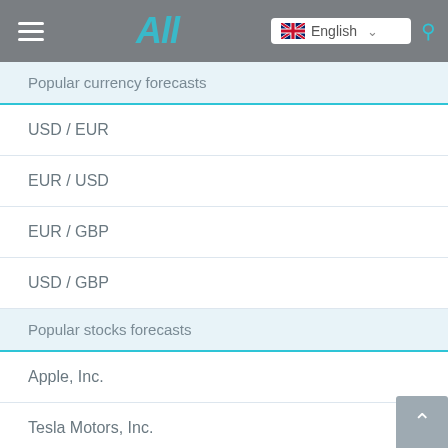All — English
Popular currency forecasts
USD / EUR
EUR / USD
EUR / GBP
USD / GBP
Popular stocks forecasts
Apple, Inc.
Tesla Motors, Inc.
Microsoft
Facebook, Inc.
Amazon.com, Inc.
Popular crypto forecasts